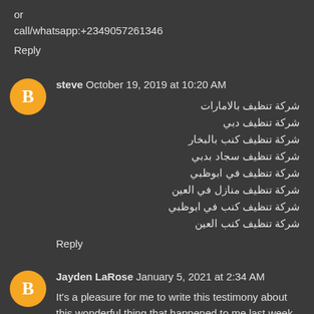or
call/whatsapp:+2349057261346
Reply
steve  October 19, 2019 at 10:20 AM
شركة تنظيف بالامارات
شركة تنظيف دبي
شركة تنظيف كنب بالبخار
شركة تنظيف سجاد بدبي
شركة تنظيف في ابوظبي
شركة تنظيف منازل في العين
شركة تنظيف كنب في ابوظبي
شركة تنظيف كنب العين
Reply
Jayden LaRose  January 5, 2021 at 2:34 AM
It's a pleasure for me to write this testimony about this wonderful thing that happened to me last week on how